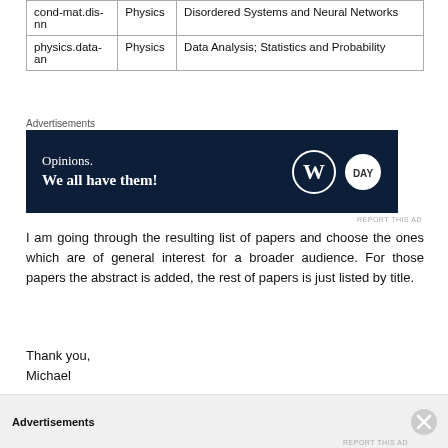|  |  |  |
| --- | --- | --- |
| cond-mat.dis-nn | Physics | Disordered Systems and Neural Networks |
| physics.data-an | Physics | Data Analysis; Statistics and Probability |
Advertisements
[Figure (other): Advertisement banner: dark navy background with text 'Opinions. We all have them!' and WordPress W logo and another circular logo.]
REPORT THIS AD
I am going through the resulting list of papers and choose the ones which are of general interest for a broader audience. For those papers the abstract is added, the rest of papers is just listed by title.
Thank you,
Michael
Advertisements
REPORT THIS AD